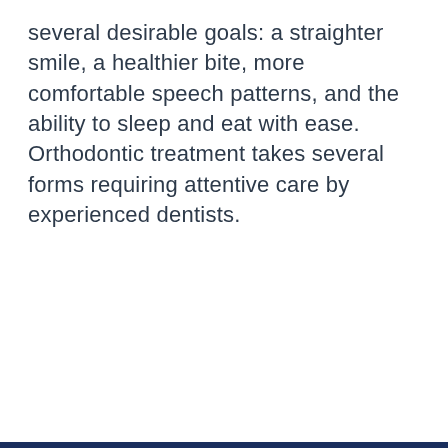several desirable goals: a straighter smile, a healthier bite, more comfortable speech patterns, and the ability to sleep and eat with ease. Orthodontic treatment takes several forms requiring attentive care by experienced dentists.